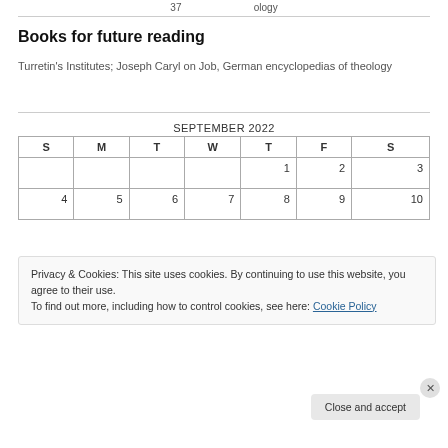37 ...ology
Books for future reading
Turretin's Institutes; Joseph Caryl on Job, German encyclopedias of theology
| S | M | T | W | T | F | S |
| --- | --- | --- | --- | --- | --- | --- |
|  |  |  |  | 1 | 2 | 3 |
| 4 | 5 | 6 | 7 | 8 | 9 | 10 |
Privacy & Cookies: This site uses cookies. By continuing to use this website, you agree to their use.
To find out more, including how to control cookies, see here: Cookie Policy